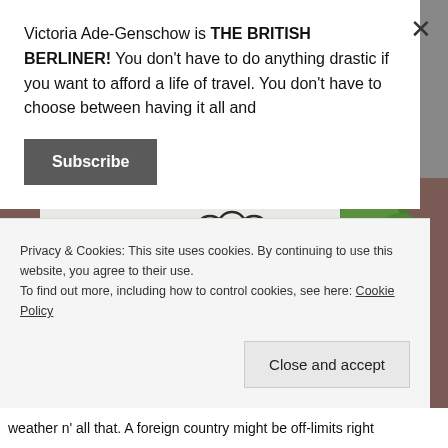Victoria Ade-Genschow is THE BRITISH BERLINER! You don't have to do anything drastic if you want to afford a life of travel. You don't have to choose between having it all and
Subscribe
[Figure (photo): Close-up photo of a decorative windmill sign/tile with a black windmill on white background, framed in brown/red, with green foliage visible to the right]
Privacy & Cookies: This site uses cookies. By continuing to use this website, you agree to their use.
To find out more, including how to control cookies, see here: Cookie Policy
Close and accept
weather n' all that. A foreign country might be off-limits right